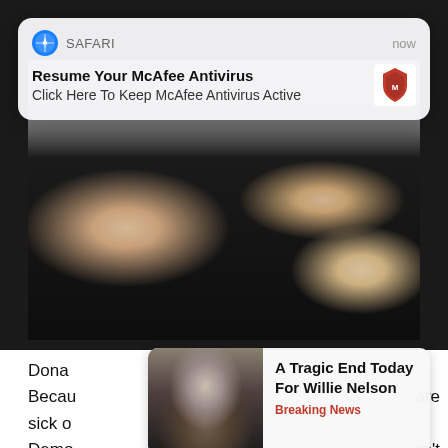[Figure (screenshot): Safari browser notification overlay on mobile device showing McAfee Antivirus alert]
Resume Your McAfee Antivirus
Click Here To Keep McAfee Antivirus Active
[Figure (photo): Person wearing black sleeveless shirt with watch, photographed from behind/side]
Dona
Becau
sick o
Demo
afraid
[Figure (screenshot): Article card popup showing Willie Nelson with headline]
A Tragic End Today For Willie Nelson
Breaking News